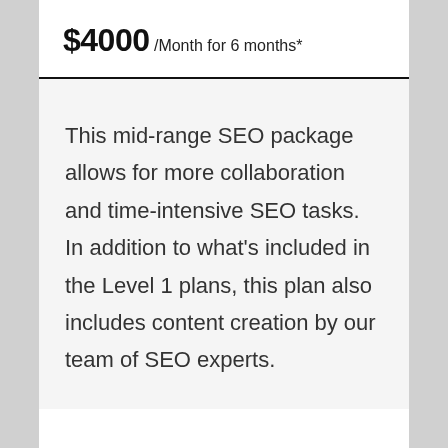$4000 /Month for 6 months*
This mid-range SEO package allows for more collaboration and time-intensive SEO tasks. In addition to what's included in the Level 1 plans, this plan also includes content creation by our team of SEO experts.